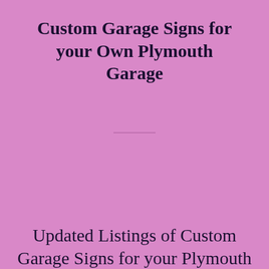Custom Garage Signs for your Own Plymouth Garage
Updated Listings of Custom Garage Signs for your Plymouth